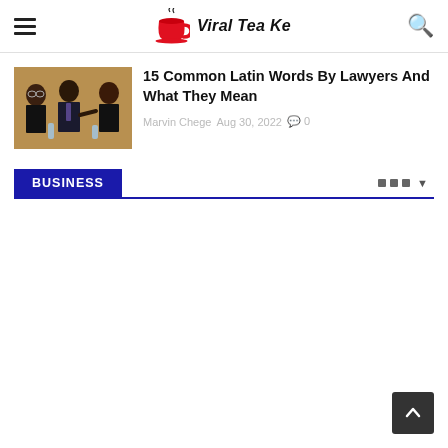Viral Tea Ke
15 Common Latin Words By Lawyers And What They Mean
Marvin Chege  Aug 30, 2022  0
BUSINESS
[Figure (other): Scroll to top button, dark grey rounded square with upward chevron arrow]